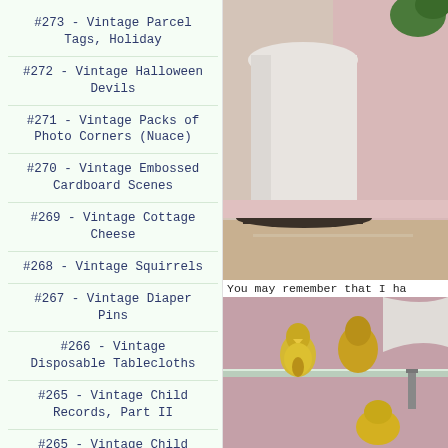#273 - Vintage Parcel Tags, Holiday
#272 - Vintage Halloween Devils
#271 - Vintage Packs of Photo Corners (Nuace)
#270 - Vintage Embossed Cardboard Scenes
#269 - Vintage Cottage Cheese
#268 - Vintage Squirrels
#267 - Vintage Diaper Pins
#266 - Vintage Disposable Tablecloths
#265 - Vintage Child Records, Part II
#265 - Vintage Child
[Figure (photo): Photo of a white ceramic or porcelain object (lamp base or vase) on a dark circular base, near a pink wall, with green plant visible at top right]
You may remember that I ha
[Figure (photo): Photo of yellow ceramic/porcelain bird figurines on a glass shelf against a pink wall]